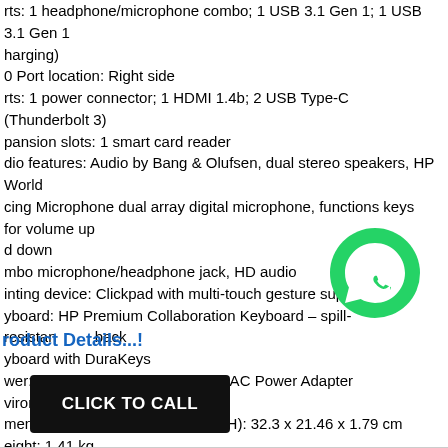rts: 1 headphone/microphone combo; 1 USB 3.1 Gen 1; 1 USB 3.1 Gen 1
harging)
0 Port location: Right side
rts: 1 power connector; 1 HDMI 1.4b; 2 USB Type-C (Thunderbolt 3)
pansion slots: 1 smart card reader
dio features: Audio by Bang & Olufsen, dual stereo speakers, HP World
cing Microphone dual array digital microphone, functions keys for volume up
d down
mbo microphone/headphone jack, HD audio
inting device: Clickpad with multi-touch gesture support
yboard: HP Premium Collaboration Keyboard – spill-resistant, back
yboard with DuraKeys
wer: HP Smart 65 W EM External AC Power Adapter
vironmental: Low halogen
mensions without stand (W x D x H): 32.3 x 21.46 x 1.79 cm
eight: 1.41 kg
[Figure (logo): WhatsApp green phone icon/logo]
roduct Details...!
[Figure (other): Black CLICK TO CALL button]